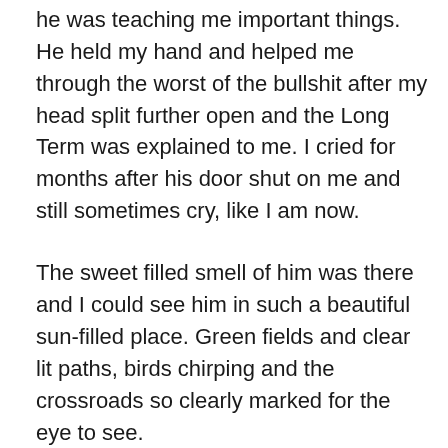in a time when I needed one even while he was teaching me important things. He held my hand and helped me through the worst of the bullshit after my head split further open and the Long Term was explained to me. I cried for months after his door shut on me and still sometimes cry, like I am now.
The sweet filled smell of him was there and I could see him in such a beautiful sun-filled place. Green fields and clear lit paths, birds chirping and the crossroads so clearly marked for the eye to see.
But I turned to look at Loki and the skies were gray. There were storm clouds in the distance. Everything was hard to see and I couldn't tell what was slog and what was path. I wanted so much to turn away from this red-headed unknown in my life, contract be damned and knowing that the Old Man would get me out of it if I asked, and march